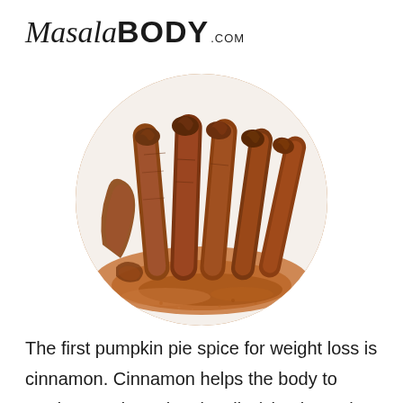MasalaBODY.com
[Figure (photo): Circular cropped photo of cinnamon sticks and cinnamon powder on a white background]
The first pumpkin pie spice for weight loss is cinnamon. Cinnamon helps the body to produce and regulate insulin (check out the benefits of